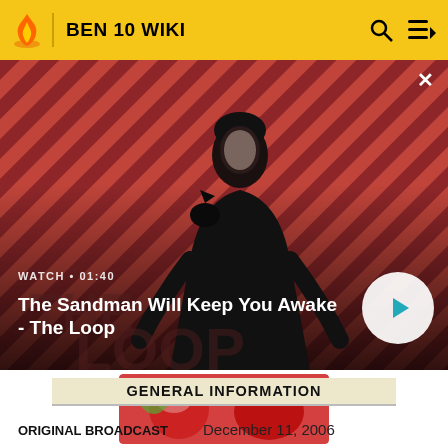BEN 10 WIKI
[Figure (screenshot): Video banner showing a dark-cloaked figure with a raven on shoulder against a red diagonal striped background. Text overlay: WATCH • 01:40 / The Sandman Will Keep You Awake - The Loop]
[Figure (photo): Thumbnail image of a cartoon/illustrated character in red and white]
GENERAL INFORMATION
ORIGINAL BROADCAST   December 11, 2006